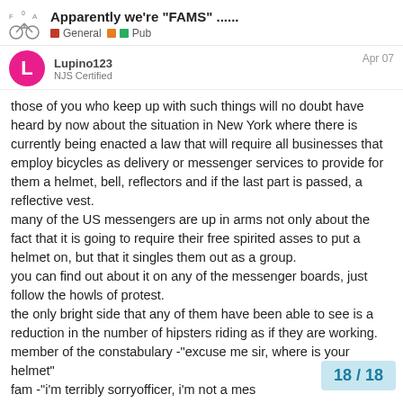Apparently we're "FAMS" ......
General  Pub
Lupino123  NJS Certified  Apr 07
those of you who keep up with such things will no doubt have heard by now about the situation in New York where there is currently being enacted a law that will require all businesses that employ bicycles as delivery or messenger services to provide for them a helmet, bell, reflectors and if the last part is passed, a reflective vest.
many of the US messengers are up in arms not only about the fact that it is going to require their free spirited asses to put a helmet on, but that it singles them out as a group.
you can find out about it on any of the messenger boards, just follow the howls of protest.
the only bright side that any of them have been able to see is a reduction in the number of hipsters riding as if they are working.
member of the constabulary -"excuse me sir, where is your helmet"
fam -"i'm terribly sorryofficer, i'm not a mes...
one"
18 / 18